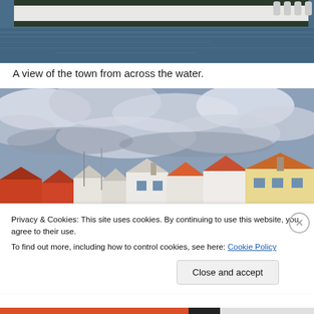[Figure (photo): Top portion of a photo showing a boat/ship hull moored at a dock with water in the foreground]
A view of the town from across the water.
[Figure (photo): A view of a Scandinavian town from across water, showing colorful houses with orange/red roofs under a dramatic cloudy sky with masts of sailboats visible]
Privacy & Cookies: This site uses cookies. By continuing to use this website, you agree to their use.
To find out more, including how to control cookies, see here: Cookie Policy
Close and accept